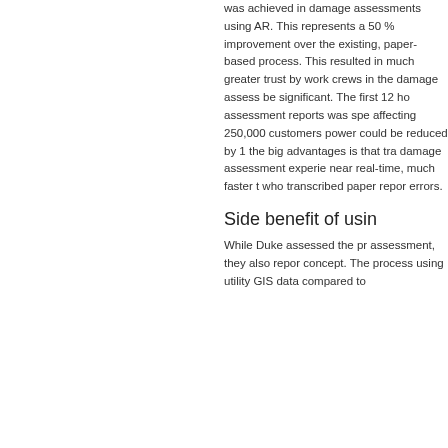was achieved in damage assessments using AR. This represents a 50 % improvement over the existing, paper-based process. This resulted in much greater trust by work crews in the damage assess be significant. The first 12 ho assessment reports was spe affecting 250,000 customers power could be reduced by 1 the big advantages is that tra damage assessment experie near real-time, much faster t who transcribed paper repor errors.
Side benefit of usin
While Duke assessed the pr assessment, they also repor concept. The process using utility GIS data compared to